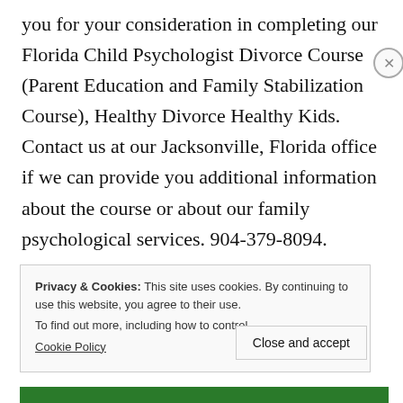you for your consideration in completing our Florida Child Psychologist Divorce Course (Parent Education and Family Stabilization Course), Healthy Divorce Healthy Kids. Contact us at our Jacksonville, Florida office if we can provide you additional information about the course or about our family psychological services. 904-379-8094.
Privacy & Cookies: This site uses cookies. By continuing to use this website, you agree to their use. To find out more, including how to control Cookie Policy